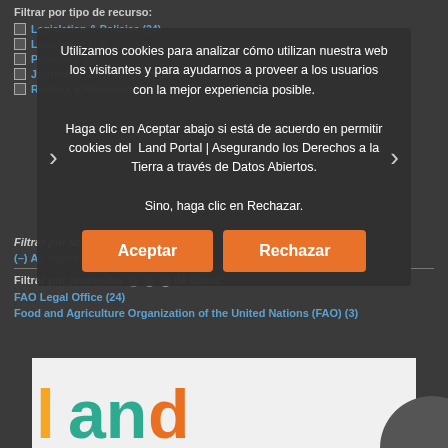Filtrar por tipo de recurso:
Legislation & Policies (24)
Legislation (18)
Providers (6)
Journal Articles & Books (2)
Reports & Research (1)
Utilizamos cookies para analizar cómo utilizan nuestra web los visitantes y para ayudarnos a proveer a los usuarios con la mejor experiencia posible.
Haga clic en Aceptar abajo si está de acuerdo en permitir cookies del Land Portal | Asegurando los Derechos a la Tierra a través de Datos Abiertos.
Sino, haga clic en Rechazar.
Filtrar por licencia del recurso:
(–) All rights reserved
Filtrar por proveedor de datos:
FAO Legal Office (24)
Food and Agriculture Organization of the United Nations (FAO) (3)
[Figure (screenshot): Land Portal logo partially visible at bottom with colorful letter marks]